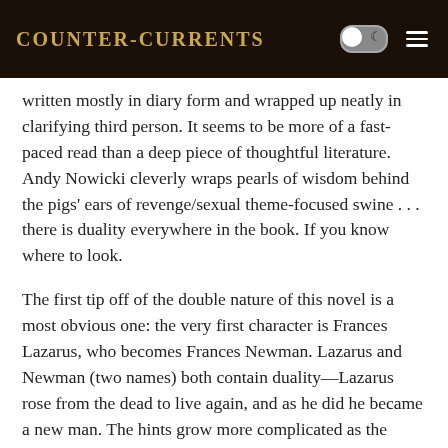Counter-Currents
written mostly in diary form and wrapped up neatly in clarifying third person. It seems to be more of a fast-paced read than a deep piece of thoughtful literature. Andy Nowicki cleverly wraps pearls of wisdom behind the pigs' ears of revenge/sexual theme-focused swine . . . there is duality everywhere in the book. If you know where to look.
The first tip off of the double nature of this novel is a most obvious one: the very first character is Frances Lazarus, who becomes Frances Newman. Lazarus and Newman (two names) both contain duality—Lazarus rose from the dead to live again, and as he did he became a new man. The hints grow more complicated as the story progresses: Johann Salvadorus, the focus of the novel, is named for Johann Bach (a man, interestingly enough, who had a brother named Bach who also composed music and whose